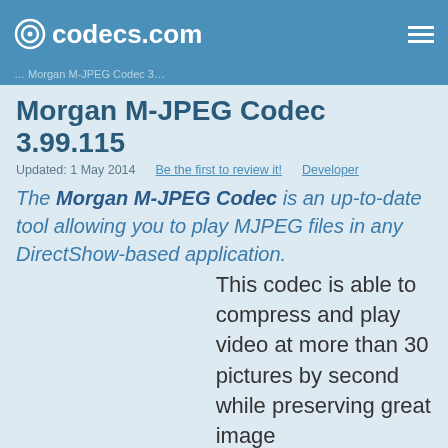codecs.com
Morgan M-JPEG Codec 3.99.115
Updated: 1 May 2014   Be the first to review it!   Developer
The Morgan M-JPEG Codec is an up-to-date tool allowing you to play MJPEG files in any DirectShow-based application.
This codec is able to compress and play video at more than 30 pictures by second while preserving great image